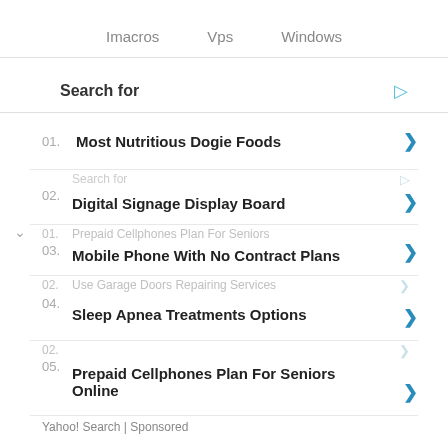Imacros   Vps   Windows
Search for
01.  Most Nutritious Dogie Foods
02.  Digital Signage Display Board
03.  Mobile Phone With No Contract Plans
04.  Sleep Apnea Treatments Options
05.  Prepaid Cellphones Plan For Seniors Online
Yahoo! Search | Sponsored
04.  No Contract Phone Service Plan
05.  Top Rated Business CRM Softwares